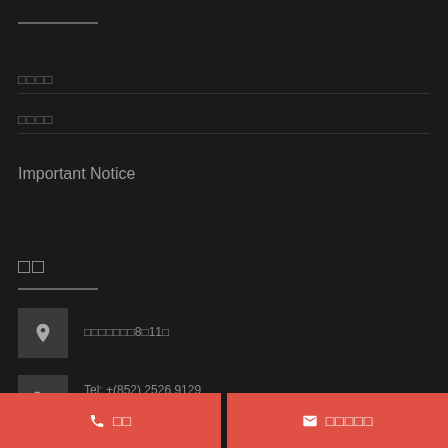□□□□
□□□□
Important Notice
□□
□□□□□□□8□11□
Tel: +(852) 2526 9129
Fax: +(852) 2526 9128
□□
□□□□□